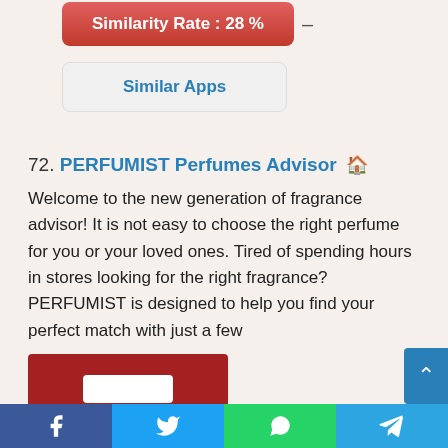Similarity Rate : 28 %
Similar Apps
72. PERFUMIST Perfumes Advisor 🏠
Welcome to the new generation of fragrance advisor! It is not easy to choose the right perfume for you or your loved ones. Tired of spending hours in stores looking for the right fragrance? PERFUMIST is designed to help you find your perfect match with just a few
[Figure (screenshot): Red background app screenshot/icon with white rounded rectangle shapes]
Facebook | Twitter | WhatsApp | Telegram